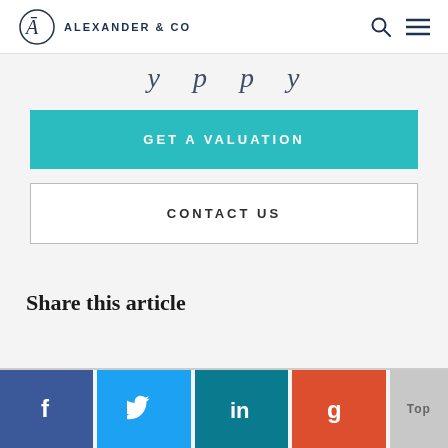ALEXANDER & CO
...
GET A VALUATION
CONTACT US
Share this article
[Figure (infographic): Social sharing buttons: Facebook, Twitter, LinkedIn, Google+, and a Top button]